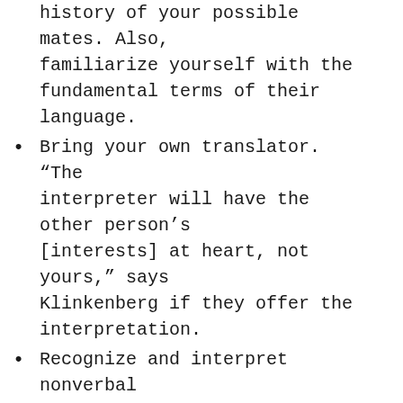history of your possible mates. Also, familiarize yourself with the fundamental terms of their language.
Bring your own translator. “The interpreter will have the other person’s [interests] at heart, not yours,” says Klinkenberg if they offer the interpretation.
Recognize and interpret nonverbal communication. “People believe [body] language is universal,” she explains.
Dress in a respectful and authoritative manner. This should go without saying. If it isn’t, get a professional image